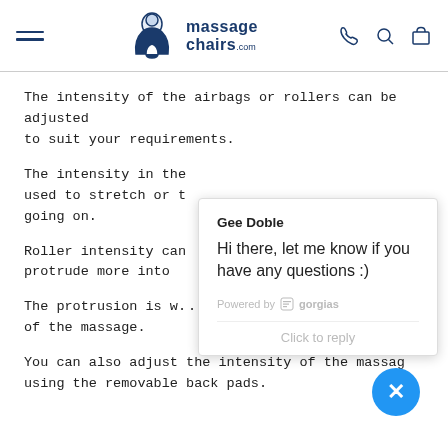massagechairs.com navigation header
The intensity of the airbags or rollers can be adjusted to suit your requirements.
The intensity in the [chat overlay] used to stretch or [chat overlay] going on.
Roller intensity can [chat overlay] protrude more into [chat overlay]
The protrusion is w... [chat overlay] n of the massage.
You can also adjust the intensity of the massag[e] using the removable back pads.
[Figure (screenshot): Chat popup from Gee Doble saying 'Hi there, let me know if you have any questions :)' powered by gorgias, with a 'Click to reply' field and a blue close button with X]